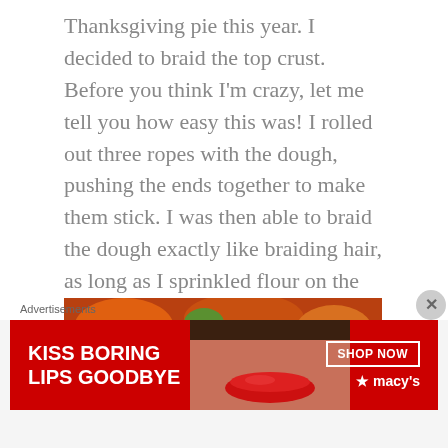Thanksgiving pie this year. I decided to braid the top crust. Before you think I'm crazy, let me tell you how easy this was! I rolled out three ropes with the dough, pushing the ends together to make them stick. I was then able to braid the dough exactly like braiding hair, as long as I sprinkled flour on the ropes every now and then to prevent them from sticking together too much.

Here was the pie before it went into the oven:
[Figure (photo): Photo of an unbaked pie with braided dough crust on top, placed on a colorful floral tablecloth with autumn motifs. The pie filling area is covered with large white beans for blind baking. The braided crust is visible along the edges.]
Advertisements
[Figure (photo): Advertisement banner for Macy's featuring a woman's face with red lips. Text reads: KISS BORING LIPS GOODBYE. On the right side: SHOP NOW button and Macy's logo with star.]